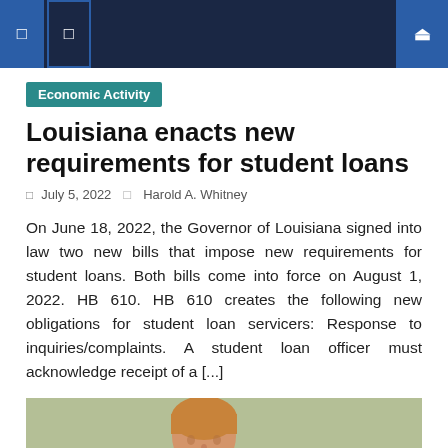Navigation bar with menu icons and search
Economic Activity
Louisiana enacts new requirements for student loans
July 5, 2022   Harold A. Whitney
On June 18, 2022, the Governor of Louisiana signed into law two new bills that impose new requirements for student loans. Both bills come into force on August 1, 2022. HB 610. HB 610 creates the following new obligations for student loan servicers: Response to inquiries/complaints. A student loan officer must acknowledge receipt of a [...]
[Figure (photo): Photo of a young man with reddish-blonde hair on a green field background]